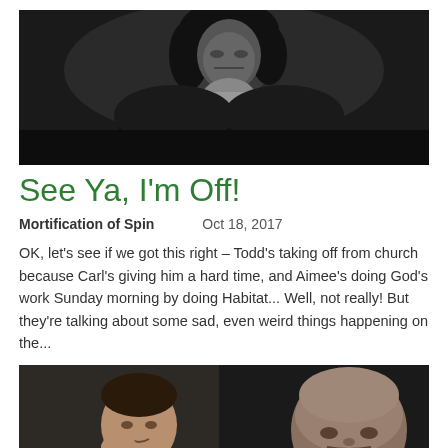[Figure (photo): Black and white portrait painting of a historical figure with curly dark hair, wearing a white cravat and dark jacket, facing slightly left.]
See Ya, I'm Off!
Mortification of Spin    Oct 18, 2017
OK, let's see if we got this right – Todd's taking off from church because Carl's giving him a hard time, and Aimee's doing God's work Sunday morning by doing Habitat... Well, not really! But they're talking about some sad, even weird things happening on the...
[Figure (photo): Two portrait paintings side by side: on the left, a man in white traditional clothing resting his chin on his hand; on the right, an older bald man in a dark suit with a red tie, looking stern.]